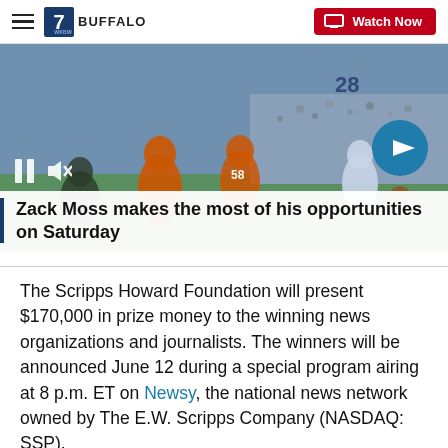7 BUFFALO  Watch Now
[Figure (photo): Football game action shot showing players in orange and white uniforms on a field, with video player controls (pause and mute icons) visible, and a blue arrow button on the right side.]
Zack Moss makes the most of his opportunities on Saturday
The Scripps Howard Foundation will present $170,000 in prize money to the winning news organizations and journalists. The winners will be announced June 12 during a special program airing at 8 p.m. ET on Newsy, the national news network owned by The E.W. Scripps Company (NASDAQ: SSP).